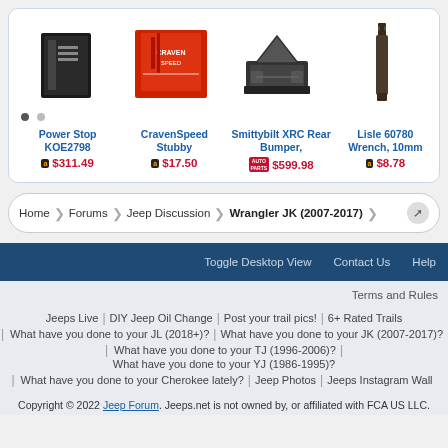[Figure (screenshot): Product carousel showing 4 products with images, titles, and prices]
Power Stop KOE2798
$311.49
CravenSpeed Stubby
$17.50
Smittybilt XRC Rear Bumper,
$599.98
Lisle 60780 Wrench, 10mm
$8.78
Home › Forums › Jeep Discussion › Wrangler JK (2007-2017)
Toggle Desktop View   Contact Us   Help
Terms and Rules
Jeeps Live | DIY Jeep Oil Change | Post your trail pics! | 6+ Rated Trails
What have you done to your JL (2018+)? | What have you done to your JK (2007-2017)?
What have you done to your TJ (1996-2006)? | What have you done to your YJ (1986-1995)?
What have you done to your Cherokee lately? | Jeep Photos | Jeeps Instagram Wall
Copyright © 2022 Jeep Forum. Jeeps.net is not owned by, or affiliated with FCA US LLC.